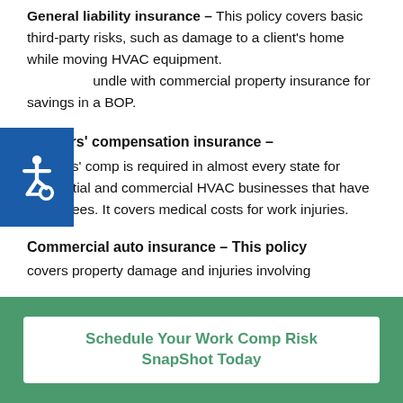General liability insurance – This policy covers basic third-party risks, such as damage to a client's home while moving HVAC equipment. Bundle with commercial property insurance for savings in a BOP.
Workers' compensation insurance –
Workers' comp is required in almost every state for residential and commercial HVAC businesses that have employees. It covers medical costs for work injuries.
Commercial auto insurance –
This policy covers property damage and injuries involving
[Figure (other): Accessibility icon (wheelchair symbol) in blue square]
Schedule Your Work Comp Risk SnapShot Today